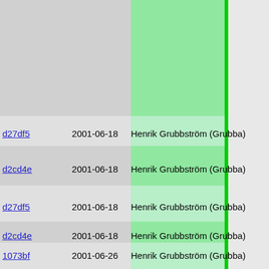| hash | date | author | code |
| --- | --- | --- | --- |
|  |  |  | }
/* N
brea |
| d27df5 | 2001-06-18 | Henrik Grubbström (Grubba) | } |
| d2cd4e | 2001-06-18 | Henrik Grubbström (Grubba) | }
if (end_
  f_aggr |
| d27df5 | 2001-06-18 | Henrik Grubbström (Grubba) | }
} |
| d2cd4e | 2001-06-18 | Henrik Grubbström (Grubba) |  |
| 1073bf | 2001-06-26 | Henrik Grubbström (Grubba) | PIKEFUN m:
{
    INT32 nu

    if (THIS
      numarg
    }

    numargs

    if ((ind
      inde |